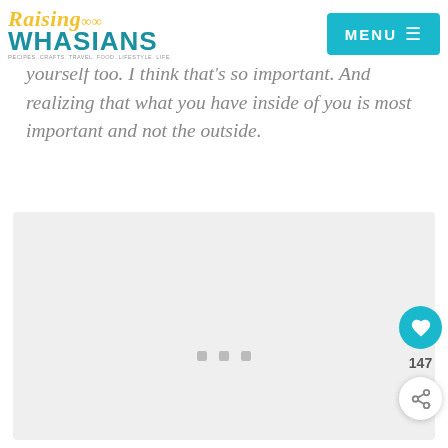Raising Whasians — MENU
yourself too. I think that's so important. And realizing that what you have inside of you is most important and not the outside.
[Figure (photo): Light gray placeholder image box with three small gray squares in the center]
147